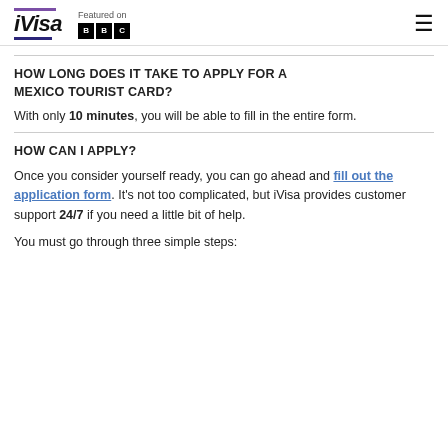iVisa — Featured on BBC
HOW LONG DOES IT TAKE TO APPLY FOR A MEXICO TOURIST CARD?
With only 10 minutes, you will be able to fill in the entire form.
HOW CAN I APPLY?
Once you consider yourself ready, you can go ahead and fill out the application form. It's not too complicated, but iVisa provides customer support 24/7 if you need a little bit of help.
You must go through three simple steps: